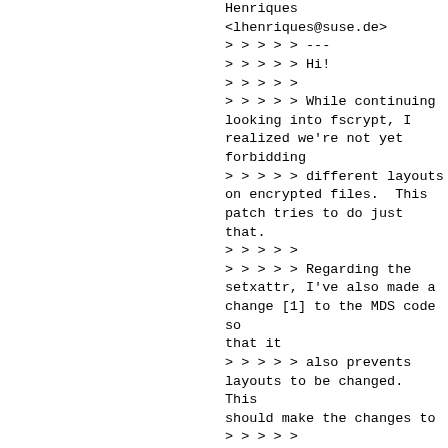Henriques
<lhenriques@suse.de>
> > > > > ---
> > > > > Hi!
> > > > >
> > > > > While continuing looking into fscrypt, I realized we're not yet forbidding
> > > > > different layouts on encrypted files.  This patch tries to do just that.
> > > > >
> > > > > Regarding the setxattr, I've also made a change [1] to the MDS code so that it
> > > > > also prevents layouts to be changed.  This should make the changes to
> > > > >
ceph_sync_setxattr()
redundant, but in practice it doesn't because if we encrypt
> > > > > a directory and immediately after that we change that directory layout, the MDS
> > > > > wouldn't yet have received the fscrypt auth for